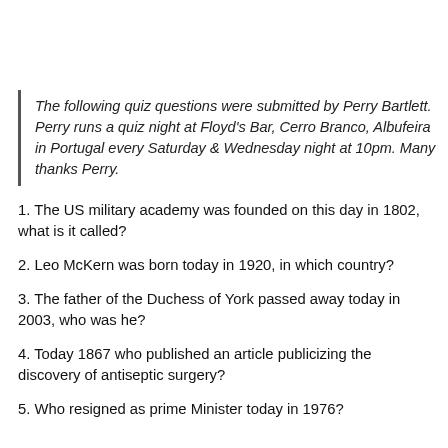The following quiz questions were submitted by Perry Bartlett. Perry runs a quiz night at Floyd's Bar, Cerro Branco, Albufeira in Portugal every Saturday & Wednesday night at 10pm. Many thanks Perry.
1. The US military academy was founded on this day in 1802, what is it called?
2. Leo McKern was born today in 1920, in which country?
3. The father of the Duchess of York passed away today in 2003, who was he?
4. Today 1867 who published an article publicizing the discovery of antiseptic surgery?
5. Who resigned as prime Minister today in 1976?